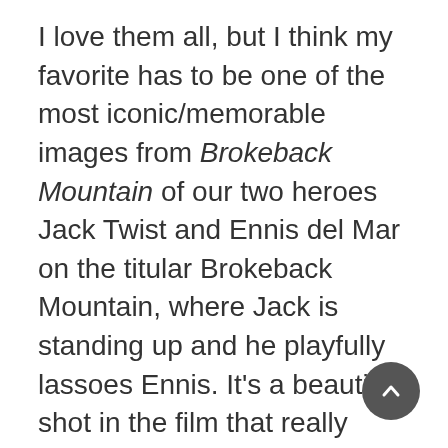I love them all, but I think my favorite has to be one of the most iconic/memorable images from Brokeback Mountain of our two heroes Jack Twist and Ennis del Mar on the titular Brokeback Mountain, where Jack is standing up and he playfully lassoes Ennis. It's a beautiful shot in the film that really contrasts the grandeur of their setting with the intimacy of their relationship. It encapsulates a lot of what I'm trying to say in my dissertation about the contrast between iconic images of cowboy mythology and a more modern emotional ideal of masculinity.